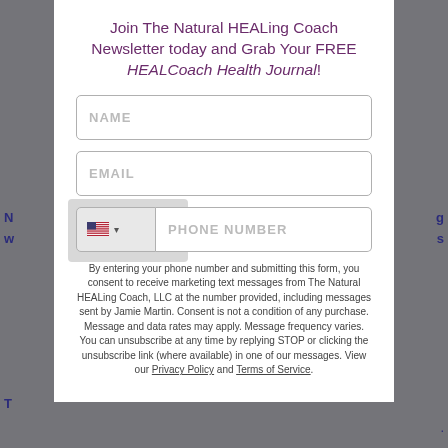Join The Natural HEALing Coach Newsletter today and Grab Your FREE HEALCoach Health Journal!
NAME
EMAIL
PHONE NUMBER
By entering your phone number and submitting this form, you consent to receive marketing text messages from The Natural HEALing Coach, LLC at the number provided, including messages sent by Jamie Martin. Consent is not a condition of any purchase. Message and data rates may apply. Message frequency varies. You can unsubscribe at any time by replying STOP or clicking the unsubscribe link (where available) in one of our messages. View our Privacy Policy and Terms of Service.